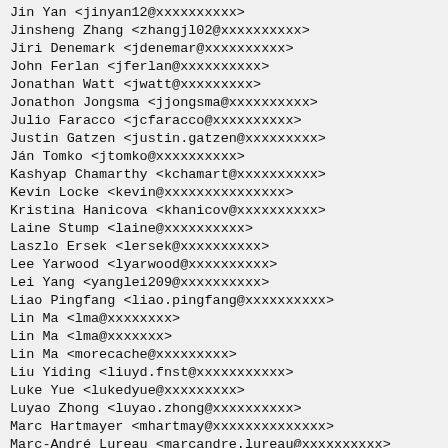Jin Yan <jinyan12@xxxxxxxxxx>
Jinsheng Zhang <zhangjl02@xxxxxxxxxx>
Jiri Denemark <jdenemar@xxxxxxxxxx>
John Ferlan <jferlan@xxxxxxxxxx>
Jonathan Watt <jwatt@xxxxxxxxx>
Jonathon Jongsma <jjongsma@xxxxxxxxxx>
Julio Faracco <jcfaracco@xxxxxxxxxx>
Justin Gatzen <justin.gatzen@xxxxxxxxx>
Ján Tomko <jtomko@xxxxxxxxxx>
Kashyap Chamarthy <kchamart@xxxxxxxxxx>
Kevin Locke <kevin@xxxxxxxxxxxxxxx>
Kristina Hanicova <khanicov@xxxxxxxxxx>
Laine Stump <laine@xxxxxxxxxx>
Laszlo Ersek <lersek@xxxxxxxxxx>
Lee Yarwood <lyarwood@xxxxxxxxxx>
Lei Yang <yanglei209@xxxxxxxxxx>
Liao Pingfang <liao.pingfang@xxxxxxxxxx>
Lin Ma <lma@xxxxxxxx>
Lin Ma <lma@xxxxxxx>
Lin Ma <morecache@xxxxxxxxx>
Liu Yiding <liuyd.fnst@xxxxxxxxxxx>
Luke Yue <lukedyue@xxxxxxxxx>
Luyao Zhong <luyao.zhong@xxxxxxxxxx>
Marc Hartmayer <mhartmay@xxxxxxxxxxxxxx>
Marc-André Lureau <marcandre.lureau@xxxxxxxxxx>